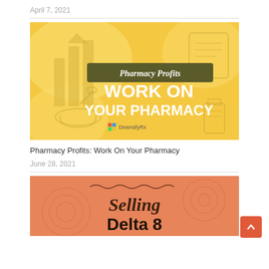April 7, 2021
[Figure (illustration): Pharmacy Profits: Work On Your Pharmacy promotional banner with yellow background, mortar and pestle, bar chart icons, Rx prescription pad, and text reading 'Pharmacy Profits Work On Your Pharmacy' with DiversifyRx logo]
Pharmacy Profits: Work On Your Pharmacy
June 28, 2021
[Figure (illustration): Selling Delta 8 promotional banner with orange/coral background and decorative swirl pattern, showing script text 'Selling' and bold text 'Delta 8']